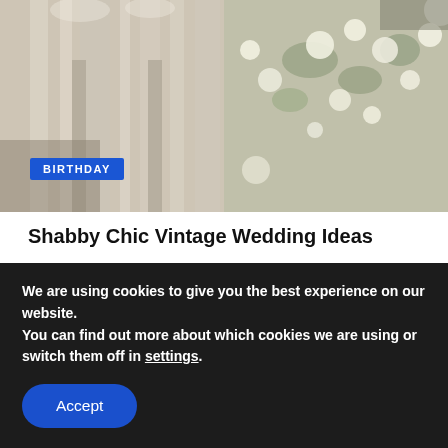[Figure (photo): Two-panel photo collage of vintage wedding decorations: left panel shows draped white fabric with lace near wooden chair legs, right panel shows floral garland with white and cream flowers against a light background.]
BIRTHDAY
Shabby Chic Vintage Wedding Ideas
Shabby Chic Vintage weddings are still very popular these days since they are so romantic and charming. It allows your...
MAY 3, 2022
[Figure (photo): Two-panel dark photo strip: left panel shows a lit candle with dark greenery, right panel shows warm blurred floral or food arrangement in dark tones.]
We are using cookies to give you the best experience on our website.
You can find out more about which cookies we are using or switch them off in settings.
Accept